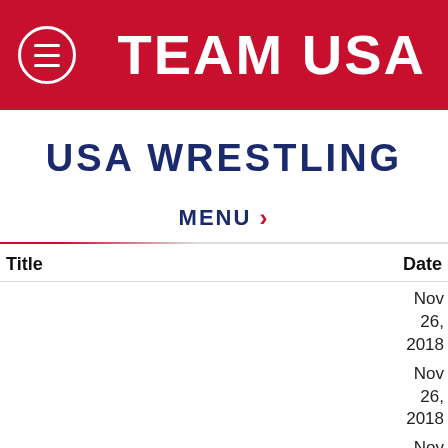TEAM USA
USA WRESTLING
MENU >
| Title | Date |
| --- | --- |
|  | Nov 26, 2018 |
|  | Nov 26, 2018 |
|  | Nov 26, |